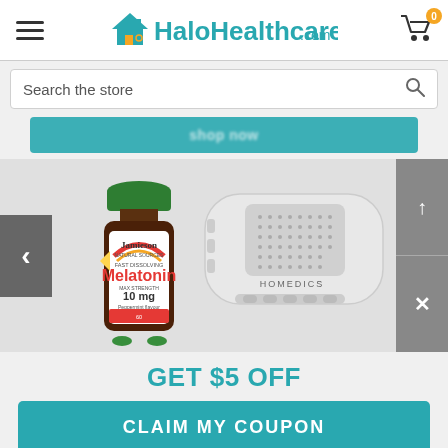HaloHealthcare.com
Search the store
[Figure (screenshot): Partial blue promotional banner button]
[Figure (photo): Product carousel showing Jamieson Melatonin 10mg bottle on the left and a HoMedics white sound machine on the right, with navigation arrows]
GET $5 OFF
CLAIM MY COUPON